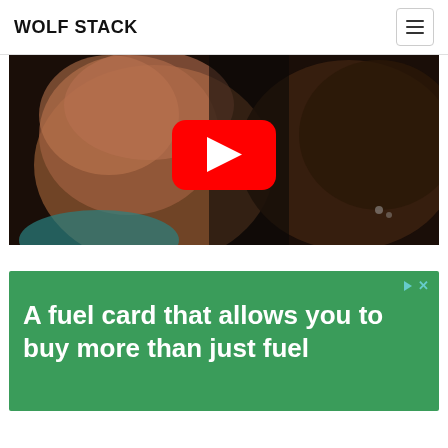WOLF STACK
[Figure (screenshot): YouTube video thumbnail showing two faces close together, one with a beard; a red YouTube play button overlay is centered on the image]
[Figure (infographic): Green advertisement banner reading 'A fuel card that allows you to buy more than just fuel' with ad controls (play and close icons) in top right corner]